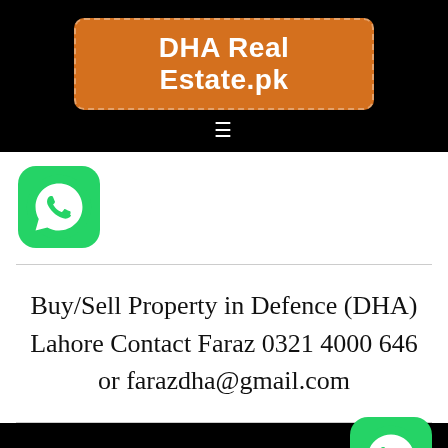DHA Real Estate.pk
[Figure (logo): WhatsApp icon (green rounded square with white phone handset)]
Buy/Sell Property in Defence (DHA) Lahore Contact Faraz 0321 4000 646 or farazdha@gmail.com
[Figure (logo): WhatsApp icon (green rounded square with white phone handset) in bottom right corner]